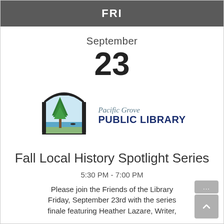FRI
September 23
[Figure (logo): Pacific Grove Public Library logo: arched frame with pine tree, water scene, butterfly, and library name text]
Fall Local History Spotlight Series
5:30 PM - 7:00 PM
Please join the Friends of the Library Friday, September 23rd with the series finale featuring Heather Lazare, Writer,